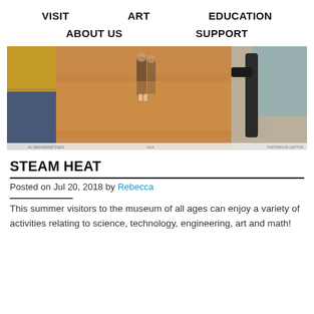VISIT   ART   EDUCATION
ABOUT US   SUPPORT
[Figure (photo): Photo of children and adults in a gym or museum activity space, seen from a low angle, with a sandy/wooden floor and people handling fabric or parachute material.]
STEAM HEAT
Posted on Jul 20, 2018 by Rebecca
This summer visitors to the museum of all ages can enjoy a variety of activities relating to science, technology, engineering, art and math!